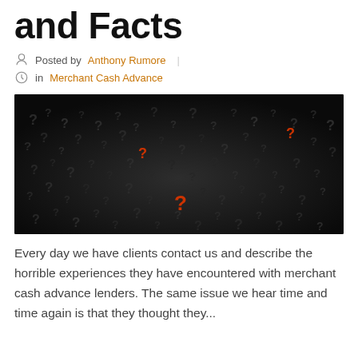and Facts
Posted by Anthony Rumore | in Merchant Cash Advance
[Figure (photo): Dark background covered with many 3D question mark symbols in black/dark gray, with a few highlighted question marks in bright red/orange standing out among them.]
Every day we have clients contact us and describe the horrible experiences they have encountered with merchant cash advance lenders. The same issue we hear time and time again is that they thought they ...